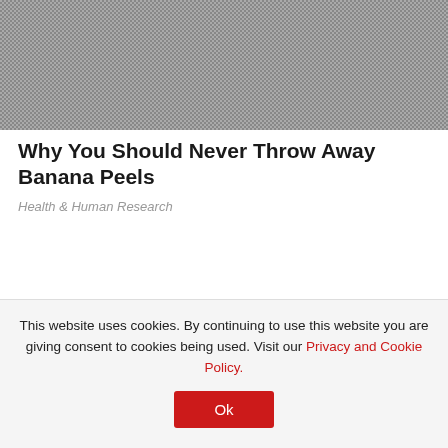[Figure (photo): Grainy gray textured surface, possibly concrete or stone, shown as a partial image cropped at the top of the page]
Why You Should Never Throw Away Banana Peels
Health & Human Research
This website uses cookies. By continuing to use this website you are giving consent to cookies being used. Visit our Privacy and Cookie Policy. Ok